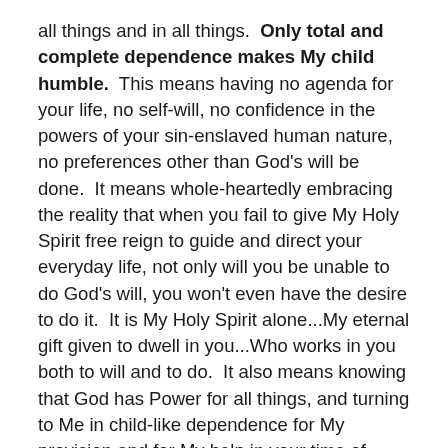all things and in all things. Only total and complete dependence makes My child humble. This means having no agenda for your life, no self-will, no confidence in the powers of your sin-enslaved human nature, no preferences other than God's will be done. It means whole-heartedly embracing the reality that when you fail to give My Holy Spirit free reign to guide and direct your everyday life, not only will you be unable to do God's will, you won't even have the desire to do it. It is My Holy Spirit alone...My eternal gift given to dwell in you...Who works in you both to will and to do. It also means knowing that God has Power for all things, and turning to Me in child-like dependence for My provision and for My help in your time of need. Humility requires trust...to be humble you need to trust God your Father's goodness toward you. Humble yourselves under the mighty hand of God, that in due time He may exalt you, casting the whole of your care...all your anxieties, all your worries, all your concerns, once and for all... on Him, for He cares for you affectionately and cares about